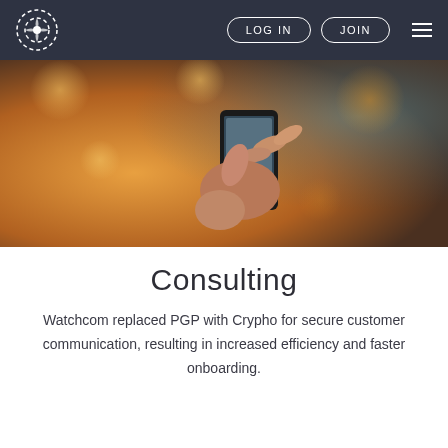LOG IN | JOIN
[Figure (photo): Close-up of hands holding and tapping on a smartphone, warm bokeh background with golden and blue tones]
Consulting
Watchcom replaced PGP with Crypho for secure customer communication, resulting in increased efficiency and faster onboarding.